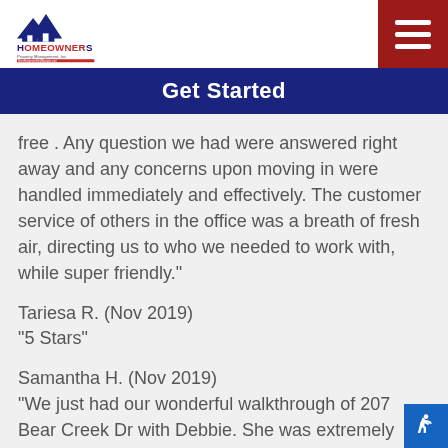[Figure (logo): Homeowners Property Management, Inc. logo with house/mountain graphic]
Get Started
free . Any question we had were answered right away and any concerns upon moving in were handled immediately and effectively. The customer service of others in the office was a breath of fresh air, directing us to who we needed to work with, while super friendly.”
Tariesa R. (Nov 2019)
“5 Stars”
Samantha H. (Nov 2019)
“We just had our wonderful walkthrough of 207 Bear Creek Dr with Debbie. She was extremely thorough and friendly. It was just as long as it needed to be and even